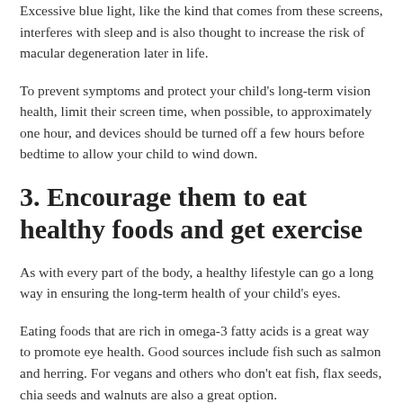Excessive blue light, like the kind that comes from these screens, interferes with sleep and is also thought to increase the risk of macular degeneration later in life.
To prevent symptoms and protect your child's long-term vision health, limit their screen time, when possible, to approximately one hour, and devices should be turned off a few hours before bedtime to allow your child to wind down.
3. Encourage them to eat healthy foods and get exercise
As with every part of the body, a healthy lifestyle can go a long way in ensuring the long-term health of your child's eyes.
Eating foods that are rich in omega-3 fatty acids is a great way to promote eye health. Good sources include fish such as salmon and herring. For vegans and others who don't eat fish, flax seeds, chia seeds and walnuts are also a great option.
Leafy greens and fruits are also important, as they're high in vitamins A, C and E, which are all important for the